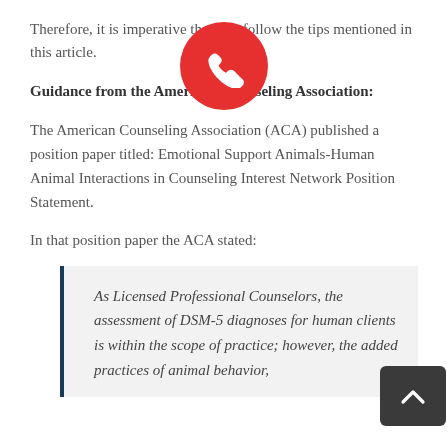Therefore, it is imperative that you follow the tips mentioned in this article.
Guidance from the American Counseling Association:
The American Counseling Association (ACA) published a position paper titled: Emotional Support Animals-Human Animal Interactions in Counseling Interest Network Position Statement.
In that position paper the ACA stated:
As Licensed Professional Counselors, the assessment of DSM-5 diagnoses for human clients is within the scope of practice; however, the added practices of animal behavior,